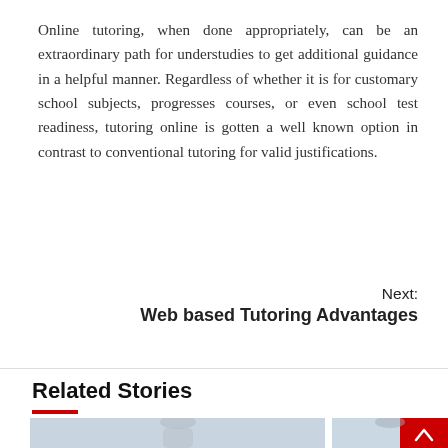Online tutoring, when done appropriately, can be an extraordinary path for understudies to get additional guidance in a helpful manner. Regardless of whether it is for customary school subjects, progresses courses, or even school test readiness, tutoring online is gotten a well known option in contrast to conventional tutoring for valid justifications.
Next:
Web based Tutoring Advantages
Related Stories
[Figure (photo): Two photos side by side: left shows a young woman with hair in a bun (student), right shows a woman wearing a headset smiling (tutor/support agent). A red scroll-to-top button overlays the bottom right.]